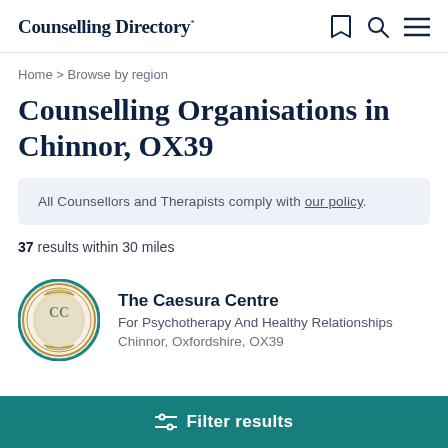Counselling Directory
Home > Browse by region
Counselling Organisations in Chinnor, OX39
All Counsellors and Therapists comply with our policy.
37 results within 30 miles
[Figure (logo): The Caesura Centre circular logo with ornate gold frame and stylized CC monogram on teal background]
The Caesura Centre
For Psychotherapy And Healthy Relationships
Chinnor, Oxfordshire, OX39
Filter results